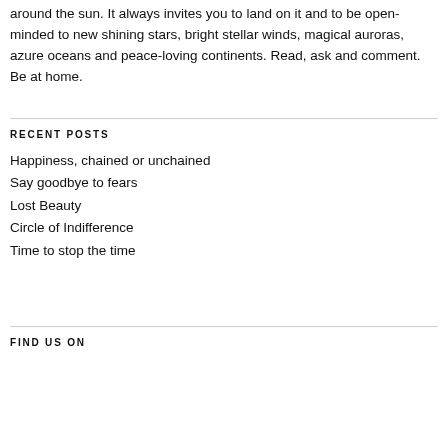around the sun. It always invites you to land on it and to be open-minded to new shining stars, bright stellar winds, magical auroras, azure oceans and peace-loving continents. Read, ask and comment. Be at home.
RECENT POSTS
Happiness, chained or unchained
Say goodbye to fears
Lost Beauty
Circle of Indifference
Time to stop the time
FIND US ON